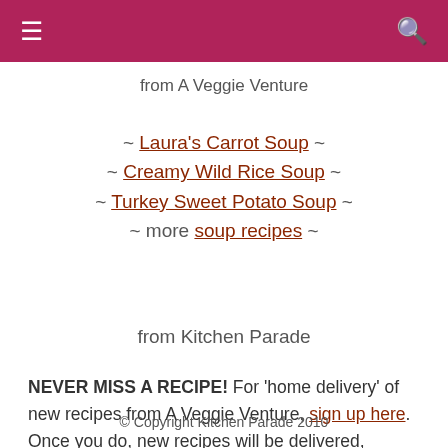≡  🔍
from A Veggie Venture
~ Laura's Carrot Soup ~
~ Creamy Wild Rice Soup ~
~ Turkey Sweet Potato Soup ~
~ more soup recipes ~
from Kitchen Parade
NEVER MISS A RECIPE! For 'home delivery' of new recipes from A Veggie Venture, sign up here. Once you do, new recipes will be delivered, automatically, straight to your e-mail In Box.
© Copyright Kitchen Parade 2010